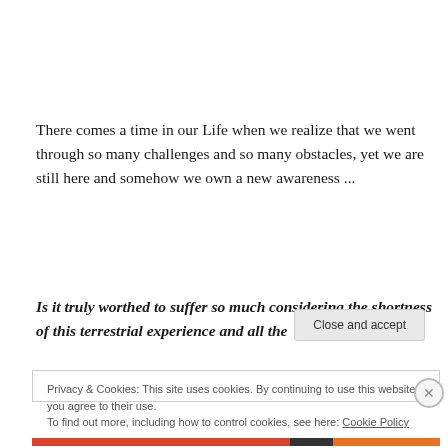There comes a time in our Life when we realize that we went through so many challenges and so many obstacles, yet we are still here and somehow we own a new awareness ...
Is it truly worthed to suffer so much considering the shortness of this terrestrial experience and all the
Privacy & Cookies: This site uses cookies. By continuing to use this website, you agree to their use.
To find out more, including how to control cookies, see here: Cookie Policy